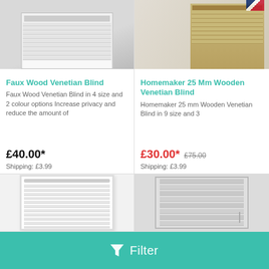[Figure (photo): Faux Wood Venetian Blind product photo showing white venetian blind on a window]
Faux Wood Venetian Blind
Faux Wood Venetian Blind in 4 size and 2 colour options Increase privacy and reduce the amount of
£40.00*
Shipping: £3.99
[Figure (photo): Homemaker 25 Mm Wooden Venetian Blind product photo showing wooden blind in a room with desk and chair]
Homemaker 25 Mm Wooden Venetian Blind
Homemaker 25 mm Wooden Venetian Blind in 9 size and 3
£30.00* £75.00
Shipping: £3.99
[Figure (photo): White venetian blind product photo]
[Figure (photo): Grey venetian blind product photo]
Filter